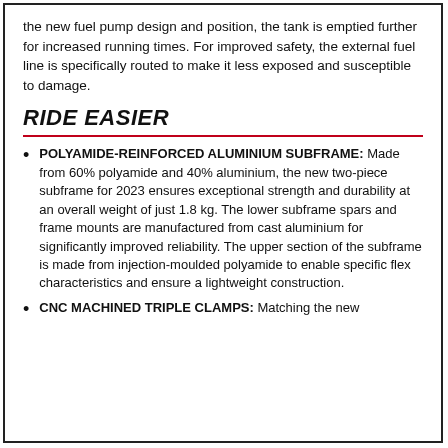the new fuel pump design and position, the tank is emptied further for increased running times. For improved safety, the external fuel line is specifically routed to make it less exposed and susceptible to damage.
RIDE EASIER
POLYAMIDE-REINFORCED ALUMINIUM SUBFRAME: Made from 60% polyamide and 40% aluminium, the new two-piece subframe for 2023 ensures exceptional strength and durability at an overall weight of just 1.8 kg. The lower subframe spars and frame mounts are manufactured from cast aluminium for significantly improved reliability. The upper section of the subframe is made from injection-moulded polyamide to enable specific flex characteristics and ensure a lightweight construction.
CNC MACHINED TRIPLE CLAMPS: Matching the new...